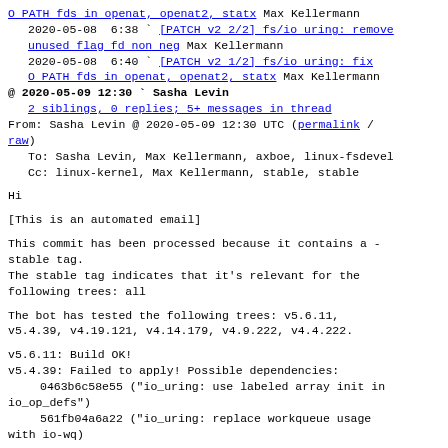O PATH fds in openat, openat2, statx Max Kellermann
  2020-05-08  6:38 ` [PATCH v2 2/2] fs/io uring: remove unused flag fd non neg Max Kellermann
  2020-05-08  6:40 ` [PATCH v2 1/2] fs/io uring: fix O PATH fds in openat, openat2, statx Max Kellermann
@ 2020-05-09 12:30 ` Sasha Levin
  2 siblings, 0 replies; 5+ messages in thread
From: Sasha Levin @ 2020-05-09 12:30 UTC (permalink / raw)
  To: Sasha Levin, Max Kellermann, axboe, linux-fsdevel
  Cc: linux-kernel, Max Kellermann, stable, stable

Hi

[This is an automated email]

This commit has been processed because it contains a -
stable tag.
The stable tag indicates that it's relevant for the
following trees: all

The bot has tested the following trees: v5.6.11,
v5.4.39, v4.19.121, v4.14.179, v4.9.222, v4.4.222.

v5.6.11: Build OK!
v5.4.39: Failed to apply! Possible dependencies:
    0463b6c58e55 ("io_uring: use labeled array init in io_op_defs")
    561fb04a6a22 ("io_uring: replace workqueue usage with io-wq")